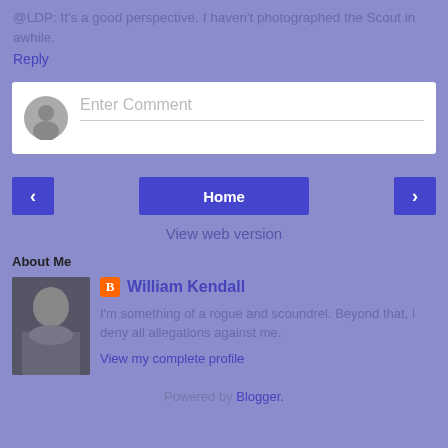@LDP: It's a good perspective. I haven't photographed the Scout in awhile.
Reply
[Figure (screenshot): Comment input box with avatar placeholder and 'Enter Comment' placeholder text]
Home
View web version
About Me
[Figure (photo): Profile photo of bald man in dark jacket]
William Kendall
I'm something of a rogue and scoundrel. Beyond that, I deny all allegations against me.
View my complete profile
Powered by Blogger.